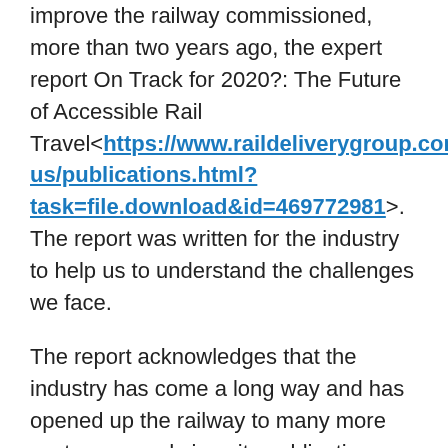improve the railway commissioned, more than two years ago, the expert report On Track for 2020?: The Future of Accessible Rail Travel<https://www.raildeliverygroup.com/about-us/publications.html?task=file.download&id=469772981>. The report was written for the industry to help us to understand the challenges we face.
The report acknowledges that the industry has come a long way and has opened up the railway to many more customers and since its publication, with advice and guidance from customers and action groups, we have done a lot more.
We are more focussed than ever on improving accessibility, with an action plan informed directly by